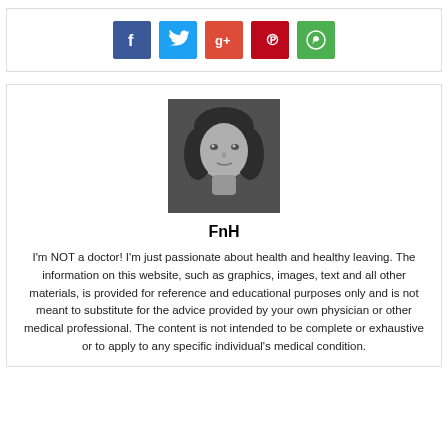[Figure (other): Social media share buttons: Facebook (blue), Twitter (cyan), Google+ (orange-red), Pinterest (dark red), WhatsApp (green)]
[Figure (photo): Black and white portrait photo of a woman with dark hair looking at the camera]
FnH
I'm NOT a doctor! I'm just passionate about health and healthy leaving. The information on this website, such as graphics, images, text and all other materials, is provided for reference and educational purposes only and is not meant to substitute for the advice provided by your own physician or other medical professional. The content is not intended to be complete or exhaustive or to apply to any specific individual's medical condition.